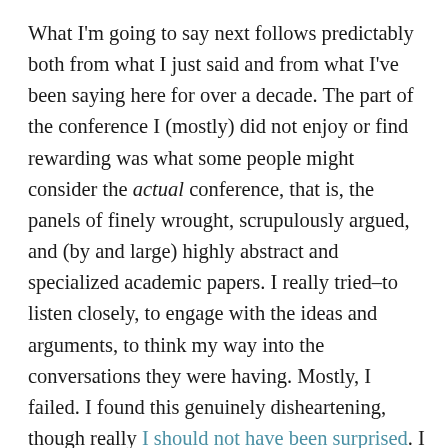What I'm going to say next follows predictably both from what I just said and from what I've been saying here for over a decade. The part of the conference I (mostly) did not enjoy or find rewarding was what some people might consider the actual conference, that is, the panels of finely wrought, scrupulously argued, and (by and large) highly abstract and specialized academic papers. I really tried–to listen closely, to engage with the ideas and arguments, to think my way into the conversations they were having. Mostly, I failed. I found this genuinely disheartening, though really I should not have been surprised. I am not criticizing the presenters. They were doing what they came to do, what their profession requires of them, what–presumably–they find interesting and intellectually stimulating, and they were doing it well. Some good evidence for that is that at every panel I attended, there were questions from the audience that